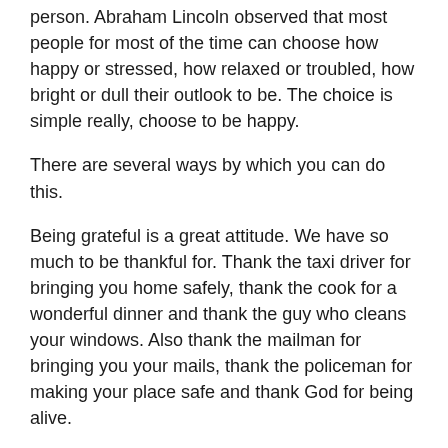person. Abraham Lincoln observed that most people for most of the time can choose how happy or stressed, how relaxed or troubled, how bright or dull their outlook to be. The choice is simple really, choose to be happy.
There are several ways by which you can do this.
Being grateful is a great attitude. We have so much to be thankful for. Thank the taxi driver for bringing you home safely, thank the cook for a wonderful dinner and thank the guy who cleans your windows. Also thank the mailman for bringing you your mails, thank the policeman for making your place safe and thank God for being alive.
News is stressful. Get less of it. Some people just can't start their day without their daily dose of news. Try and think about it, 99% of the news we hear or read is bad news. Starting the day with bad news does not seem to be a sensible thing to do.
A religious connection is also recommended. Being part of a religious group with its singing, sacraments, chanting, prayers...